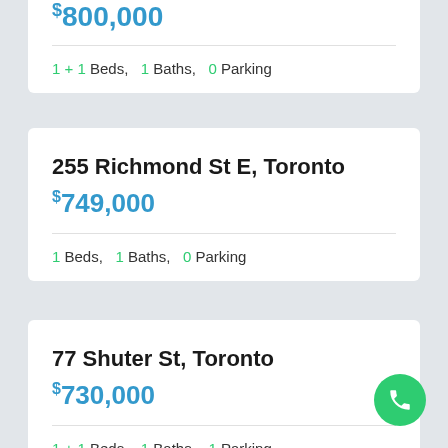$800,000
1 + 1 Beds,  1 Baths,  0 Parking
255 Richmond St E, Toronto
$749,000
1 Beds,  1 Baths,  0 Parking
77 Shuter St, Toronto
$730,000
1 + 1 Beds,  1 Baths,  1 Parking